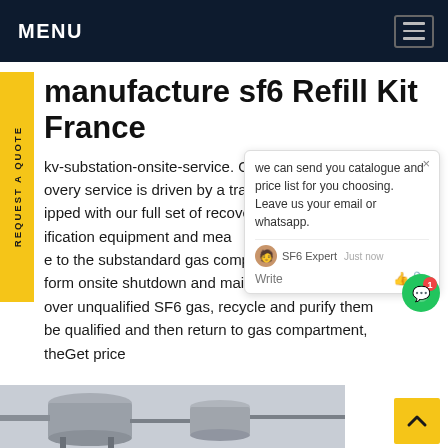MENU
manufacture sf6 Refill Kit France
kv-substation-onsite-service. Our recovery service is driven by a trailer equipped with our full set of recovery, purification equipment and measurement, due to the substandard gas components, perform onsite shutdown and maintenance, directly recover unqualified SF6 gas, recycle and purify them be qualified and then return to gas compartment, theGet price
[Figure (screenshot): Chat popup overlay showing message: 'we can send you catalogue and price list for you choosing. Leave us your email or whatsapp.' with SF6 Expert agent indicator showing 'Just now' and Write/send controls]
[Figure (photo): Industrial gas equipment photo showing large cylindrical tanks and piping at the bottom of the page]